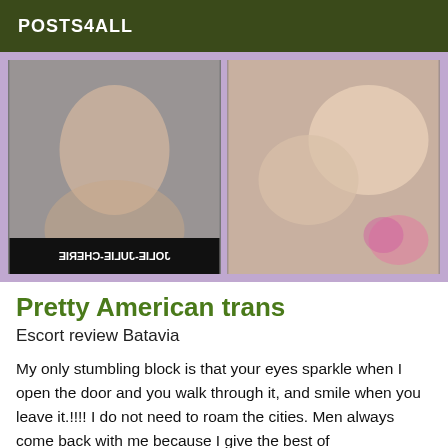POSTS4ALL
[Figure (photo): Two adult photos side by side on a purple background. Left image shows a person in lingerie on a bed with a mirrored/reversed watermark reading 'JOLIE-JULIE-CHERIE'. Right image shows a close-up of a person with a pink orchid flower visible.]
Pretty American trans
Escort review Batavia
My only stumbling block is that your eyes sparkle when I open the door and you walk through it, and smile when you leave it.!!!! I do not need to roam the cities. Men always come back with me because I give the best of